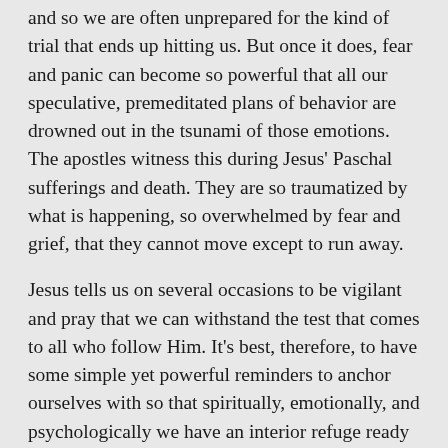and so we are often unprepared for the kind of trial that ends up hitting us. But once it does, fear and panic can become so powerful that all our speculative, premeditated plans of behavior are drowned out in the tsunami of those emotions. The apostles witness this during Jesus' Paschal sufferings and death. They are so traumatized by what is happening, so overwhelmed by fear and grief, that they cannot move except to run away.
Jesus tells us on several occasions to be vigilant and pray that we can withstand the test that comes to all who follow Him. It's best, therefore, to have some simple yet powerful reminders to anchor ourselves with so that spiritually, emotionally, and psychologically we have an interior refuge ready ahead of time. One we know works.